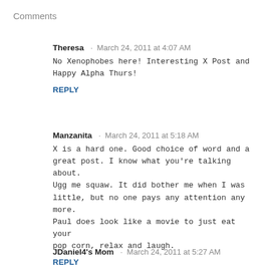Comments
Theresa · March 24, 2011 at 4:07 AM
No Xenophobes here! Interesting X Post and Happy Alpha Thurs!
REPLY
Manzanita · March 24, 2011 at 5:18 AM
X is a hard one. Good choice of word and a great post. I know what you're talking about. Ugg me squaw. It did bother me when I was little, but no one pays any attention any more. Paul does look like a movie to just eat your pop corn, relax and laugh.
REPLY
JDaniel4's Mom · March 24, 2011 at 5:27 AM